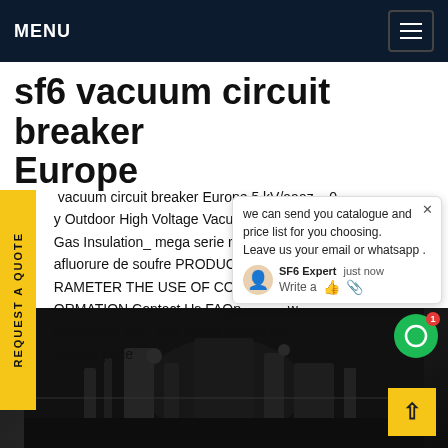MENU
sf6 vacuum circuit breaker Europe
vacuum circuit breaker Europe,5 kV/aaaz__0 y Outdoor High Voltage Vacuum C ker Gas Insulation_ mega serie recy afluorure de soufre PRODUCT DE RAMETER THE USE OF CONDITION ORMATION Contact Us FAQp___ w e Mounted Sf6 Load Break Switch sf6 __ tionGet price
[Figure (screenshot): Chat popup with message: we can send you catalogue and price list for you choosing. Leave us your email or whatsapp. SF6 Expert just now. Write a [like] [attach]]
[Figure (photo): Dark photograph of electrical equipment/circuit breaker components, dark background]
REQUEST A QUOTE